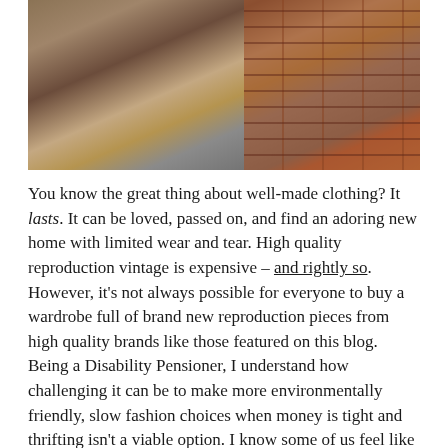[Figure (photo): A person wearing a brown and beige Fair Isle patterned knit sweater vest and a grey skirt, standing in front of a red brick wall.]
You know the great thing about well-made clothing? It lasts. It can be loved, passed on, and find an adoring new home with limited wear and tear. High quality reproduction vintage is expensive – and rightly so. However, it's not always possible for everyone to buy a wardrobe full of brand new reproduction pieces from high quality brands like those featured on this blog. Being a Disability Pensioner, I understand how challenging it can be to make more environmentally friendly, slow fashion choices when money is tight and thrifting isn't a viable option. I know some of us feel like we're excluded from this community because our situations or priorities are